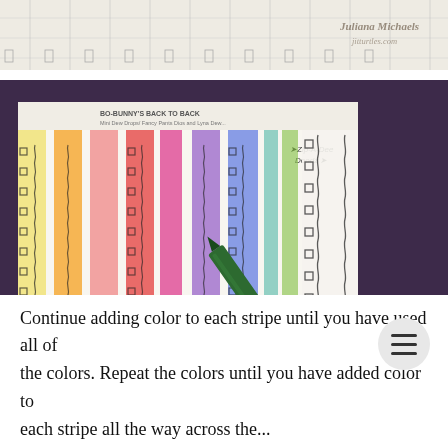[Figure (photo): Top partial photo of a ruler or measuring template on a white background, with a watermark reading 'Juliana Michaels jitturtles.com' in the lower right corner.]
[Figure (photo): A colorful craft photo showing decorated border strips colored with pencils in yellow, orange, pink, red, magenta, purple, blue, and green, on a printed Zip-A-Dee Doodle template sheet, with a green marker/pen laying on top. Watermark 'Juliana Michaels jitturtles.com' in lower right. The template is on a purple cutting mat.]
Continue adding color to each stripe until you have used all of the colors. Repeat the colors until you have added color to each stripe all the way across the...